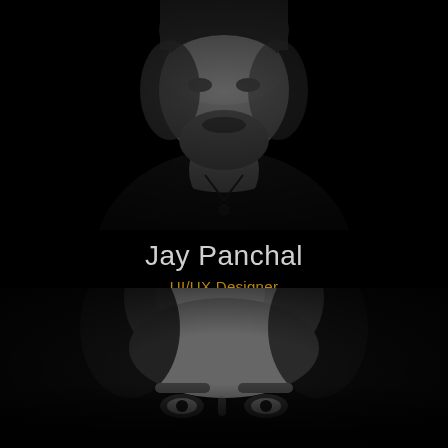[Figure (photo): Black and white portrait photo of a man with dark hair and beard wearing a black shirt, shown from upper body, against a dark/black background. Only the upper portion of the face and torso are visible.]
Jay Panchal
UI/UX Designer
[Figure (photo): Black and white portrait photo of a bald man with light stubble, shown from the top of the head to just below the eyes, against a dark background. Only the top half of the face is visible.]